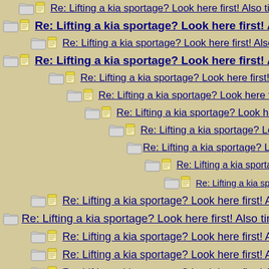Re: Lifting a kia sportage? Look here first! Also tire size reco...
Re: Lifting a kia sportage? Look here first! Also tire size recom...
Re: Lifting a kia sportage? Look here first! Also tire size rec...
Re: Lifting a kia sportage? Look here first! Also tire size recom...
Re: Lifting a kia sportage? Look here first! Also tire size rec...
Re: Lifting a kia sportage? Look here first! Also tire size r...
Re: Lifting a kia sportage? Look here first! Also tire siz...
Re: Lifting a kia sportage? Look here first! Also tire...
Re: Lifting a kia sportage? Look here first! Also tire...
Re: Lifting a kia sportage? Look here first! Alsc...
Re: Lifting a kia sportage? Look here first! A...
Re: Lifting a kia sportage? Look here first! Also tire size rec...
Re: Lifting a kia sportage? Look here first! Also tire size recon...
Re: Lifting a kia sportage? Look here first! Also tire size rec...
Re: Lifting a kia sportage? Look here first! Also tire size r...
Re: Lifting a kia sportage? Look here first! Also tire size r...
Re: Lifting a kia sportage? Look here first! Also tire siz...
Re: Lifting a kia sportage? Look here first! Also tire...